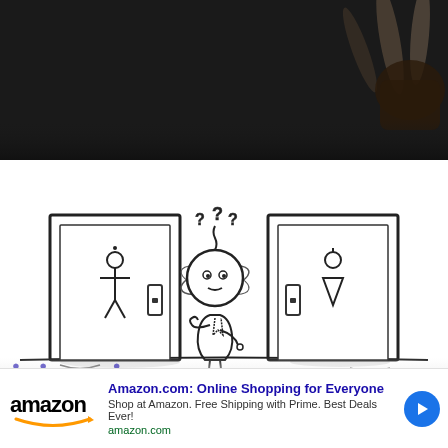[Figure (screenshot): Dark header area with blurred background showing what appears to be chopsticks or sticks in the upper right corner against a dark background]
[Figure (illustration): Cartoon line drawing of a confused stick figure character standing between two bathroom doors. Left door has a male figure symbol, right door has a female figure symbol. The character in the middle has question marks above their head and appears dizzy with circular motion lines around their head.]
[Figure (screenshot): Amazon advertisement banner. Shows the Amazon logo on the left, title 'Amazon.com: Online Shopping for Everyone', description 'Shop at Amazon. Free Shipping with Prime. Best Deals Ever!', URL 'amazon.com', and a blue circular arrow button on the right. There is a close (X) button in the upper right of the ad.]